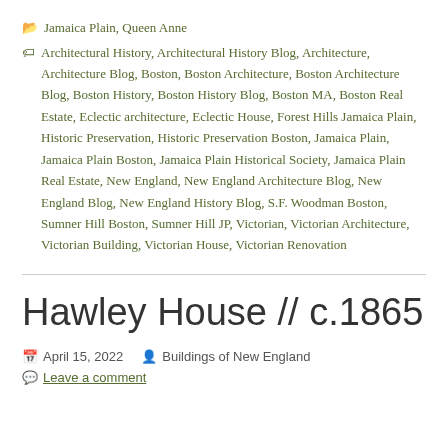Jamaica Plain, Queen Anne
Architectural History, Architectural History Blog, Architecture, Architecture Blog, Boston, Boston Architecture, Boston Architecture Blog, Boston History, Boston History Blog, Boston MA, Boston Real Estate, Eclectic architecture, Eclectic House, Forest Hills Jamaica Plain, Historic Preservation, Historic Preservation Boston, Jamaica Plain, Jamaica Plain Boston, Jamaica Plain Historical Society, Jamaica Plain Real Estate, New England, New England Architecture Blog, New England Blog, New England History Blog, S.F. Woodman Boston, Sumner Hill Boston, Sumner Hill JP, Victorian, Victorian Architecture, Victorian Building, Victorian House, Victorian Renovation
Hawley House // c.1865
April 15, 2022   Buildings of New England
Leave a comment